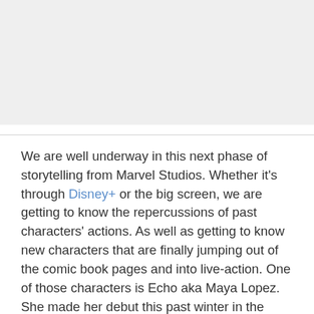[Figure (photo): Image placeholder area at top of page, light gray background]
We are well underway in this next phase of storytelling from Marvel Studios. Whether it's through Disney+ or the big screen, we are getting to know the repercussions of past characters' actions. As well as getting to know new characters that are finally jumping out of the comic book pages and into live-action. One of those characters is Echo aka Maya Lopez. She made her debut this past winter in the Marvel Studios, Disney+ exclusive, Hawkeye.